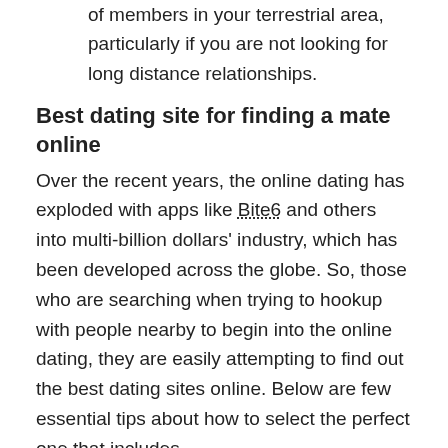The online dating site must have an enough number of members in your terrestrial area, particularly if you are not looking for long distance relationships.
Best dating site for finding a mate online
Over the recent years, the online dating has exploded with apps like Bite6 and others into multi-billion dollars' industry, which has been developed across the globe. So, those who are searching when trying to hookup with people nearby to begin into the online dating, they are easily attempting to find out the best dating sites online. Below are few essential tips about how to select the perfect one that includes.
The initial thing you need to look for is size of the database in your selected dating site. You can also assure that there will be thousands of best matches for you to select from and also have a chance to meet